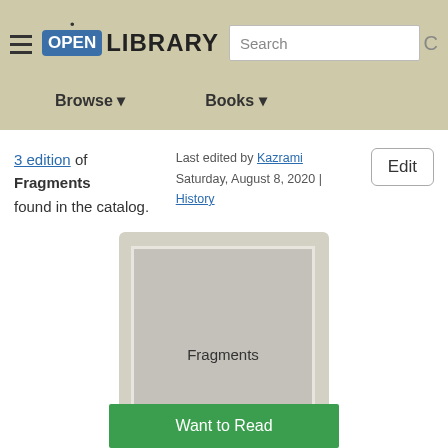Open Library — Browse | Books | Search
3 edition of Fragments found in the catalog.
Last edited by Kazrami Saturday, August 8, 2020 | History
[Figure (illustration): Book cover placeholder showing the title 'Fragments' centered on a grey rectangular book cover image]
Want to Read